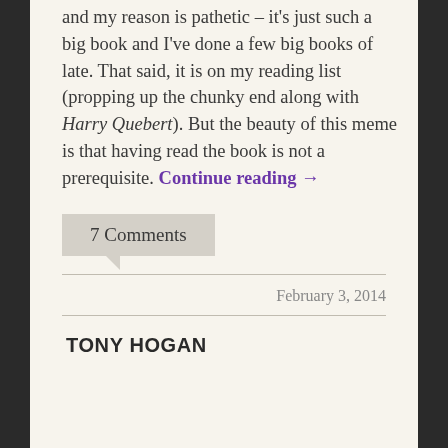and my reason is pathetic – it's just such a big book and I've done a few big books of late. That said, it is on my reading list (propping up the chunky end along with Harry Quebert). But the beauty of this meme is that having read the book is not a prerequisite. Continue reading →
7 Comments
February 3, 2014
TONY HOGAN